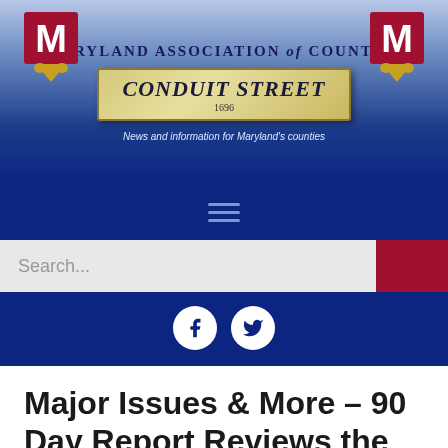[Figure (logo): Maryland Association of Counties - Conduit Street newsletter banner with logo on left and right, street sign graphic in center reading CONDUIT STREET 1696, tagline 'News and information for Maryland's counties']
[Figure (other): Hamburger navigation menu icon (three horizontal lines)]
[Figure (screenshot): Search bar with placeholder text 'Search...' and red search button]
[Figure (other): Social media icons row: Facebook and Twitter circular buttons]
Major Issues & More – 90 Day Report Reviews the 2021 Legislative Session